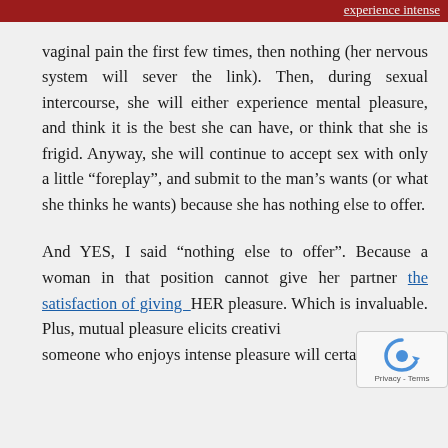experience intense
vaginal pain the first few times, then nothing (her nervous system will sever the link). Then, during sexual intercourse, she will either experience mental pleasure, and think it is the best she can have, or think that she is frigid. Anyway, she will continue to accept sex with only a little “foreplay”, and submit to the man’s wants (or what she thinks he wants) because she has nothing else to offer.
And YES, I said “nothing else to offer”. Because a woman in that position cannot give her partner the satisfaction of giving HER pleasure. Which is invaluable. Plus, mutual pleasure elicits creativi... someone who enjoys intense pleasure will certainly...